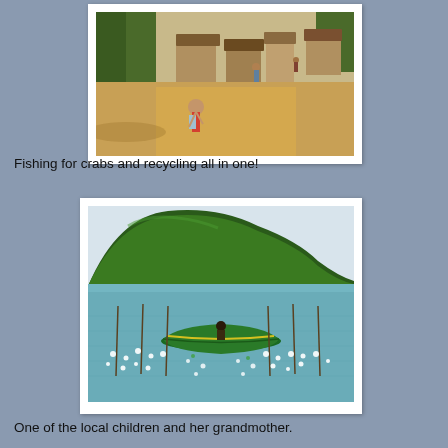[Figure (photo): Village scene with dirt path, people walking, and thatched/wooden structures in background. Sandy ground with trees.]
Fishing for crabs and recycling all in one!
[Figure (photo): A person in a green fishing boat on calm water with a large green forested hill in background. Many white floats/buoys surround the boat for crab fishing.]
One of the local children and her grandmother.